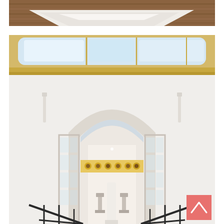[Figure (photo): Top photo showing interior wooden ceiling and a white surface/table below it, viewed from above.]
[Figure (photo): Interior gallery/hall photo showing a large skylight with yellow/golden frame at the top, white walls, and a grand arched doorway with glass panels leading to another room with artwork and sculptures. Black railings are visible at the bottom. A pink/salmon scroll-to-top button is in the lower right corner.]